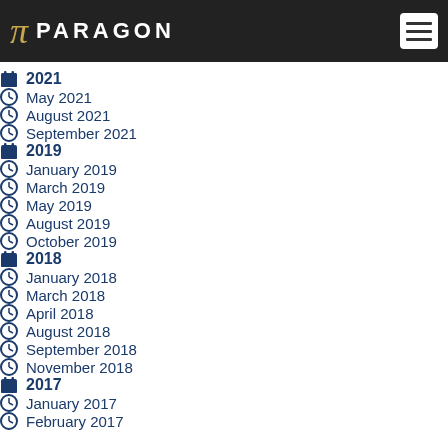PARAGON
2021
May 2021
August 2021
September 2021
2019
January 2019
March 2019
May 2019
August 2019
October 2019
2018
January 2018
March 2018
April 2018
August 2018
September 2018
November 2018
2017
January 2017
February 2017